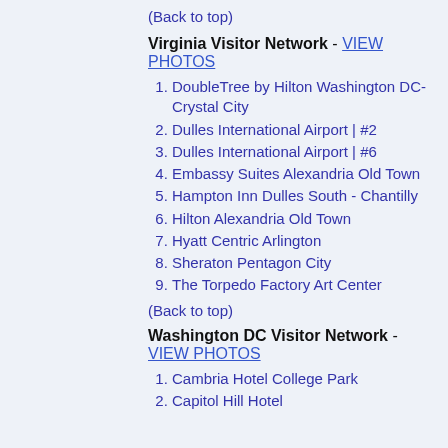(Back to top)
Virginia Visitor Network - VIEW PHOTOS
DoubleTree by Hilton Washington DC-Crystal City
Dulles International Airport | #2
Dulles International Airport | #6
Embassy Suites Alexandria Old Town
Hampton Inn Dulles South - Chantilly
Hilton Alexandria Old Town
Hyatt Centric Arlington
Sheraton Pentagon City
The Torpedo Factory Art Center
(Back to top)
Washington DC Visitor Network - VIEW PHOTOS
Cambria Hotel College Park
Capitol Hill Hotel